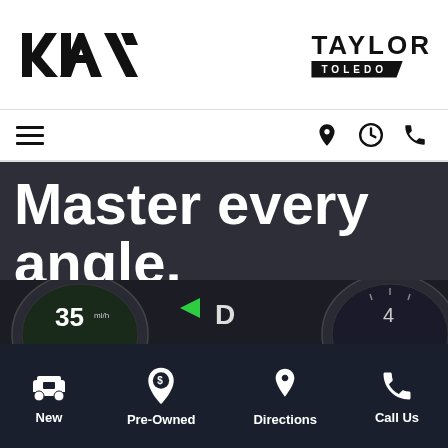[Figure (logo): Kia logo (stylized KIA text in black) and Taylor Toledo dealership logo with TAYLOR in bold black and TOLEDO on a dark banner]
[Figure (screenshot): Navigation bar with hamburger menu icon on the left and location pin, clock, and phone icons on the right]
Master every angle.
[Figure (photo): Kia vehicle dashboard display showing speedometer at 35 mph, D gear indicator, green arrow turn signal, and right gauge cluster]
[Figure (infographic): Bottom navigation bar with four items: New (car icon), Pre-Owned (price tag icon), Directions (location pin icon), Call Us (phone icon)]